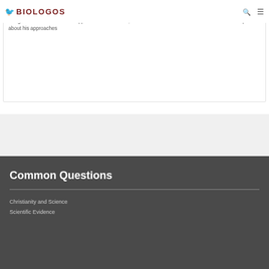BioLogos
Craig discusses four different approaches in his book, "Creation or Evolution?" and talks with us in the episode about his approaches
Common Questions
Christianity and Science
Scientific Evidence